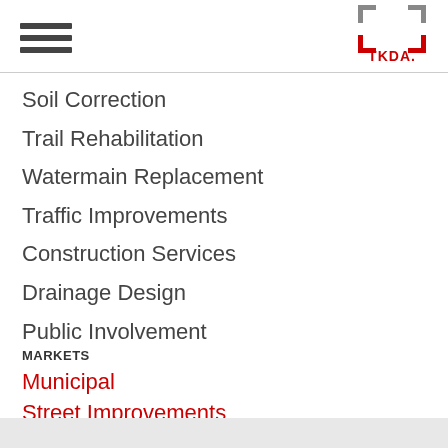[Figure (logo): TKDA logo with bracket corners in gray and red, company name TKDA in red]
Soil Correction
Trail Rehabilitation
Watermain Replacement
Traffic Improvements
Construction Services
Drainage Design
Public Involvement
MARKETS
Municipal
Street Improvements